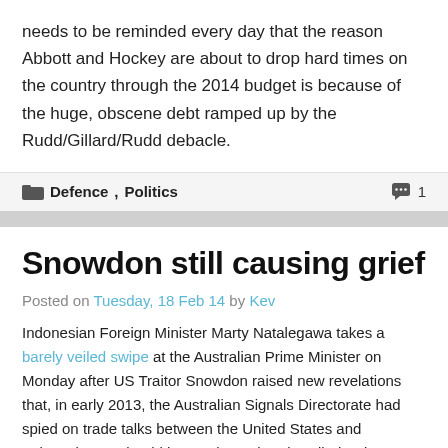needs to be reminded every day that the reason Abbott and Hockey are about to drop hard times on the country through the 2014 budget is because of the huge, obscene debt ramped up by the Rudd/Gillard/Rudd debacle.
Defence, Politics   1
Snowdon still causing grief
Posted on Tuesday, 18 Feb 14 by Kev
Indonesian Foreign Minister Marty Natalegawa takes a barely veiled swipe at the Australian Prime Minister on Monday after US Traitor Snowdon raised new revelations that, in early 2013, the Australian Signals Directorate had spied on trade talks between the United States and Indonesia. He should have taken a barely veiled swipe at Gillard as the event happened during her tenure but I gues that doesn't matter. He took the barely veiled swipe during